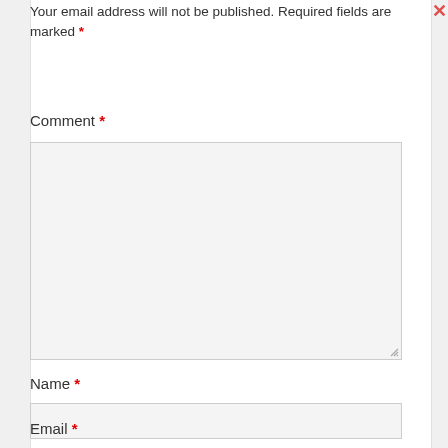Your email address will not be published. Required fields are marked *
Comment *
[Figure (screenshot): Large empty comment textarea input box with light gray background and resize handle at bottom-right]
Name *
[Figure (screenshot): Single-line name input field with light gray background]
Email *